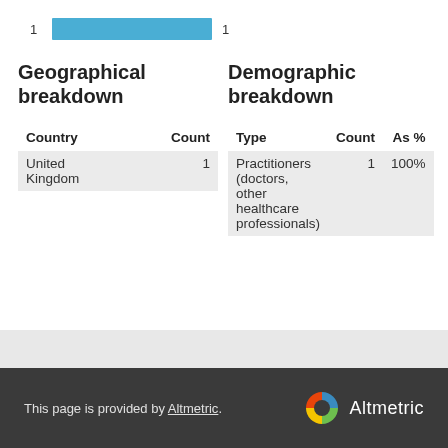[Figure (bar-chart): Bar showing count 1]
Geographical breakdown
Demographic breakdown
| Country | Count |
| --- | --- |
| United Kingdom | 1 |
| Type | Count | As % |
| --- | --- | --- |
| Practitioners (doctors, other healthcare professionals) | 1 | 100% |
This page is provided by Altmetric.